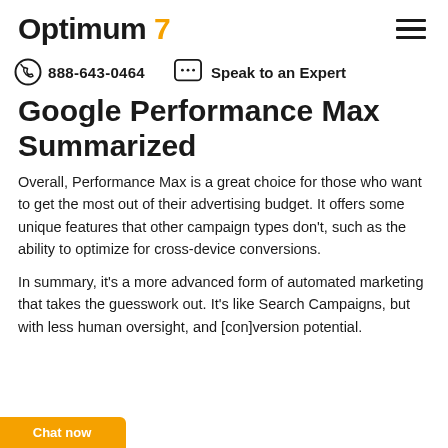Optimum 7 [hamburger menu]
888-643-0464   Speak to an Expert
Google Performance Max Summarized
Overall, Performance Max is a great choice for those who want to get the most out of their advertising budget. It offers some unique features that other campaign types don't, such as the ability to optimize for cross-device conversions.
In summary, it's a more advanced form of automated marketing that takes the guesswork out. It's like Search Campaigns, but with less human oversight, and [con]version potential.
Chat now